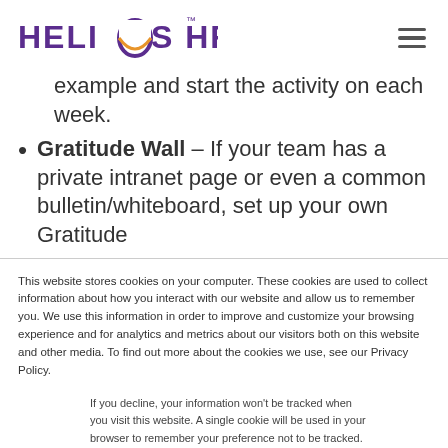HELIOS HR
example and start the activity on each week.
Gratitude Wall – If your team has a private intranet page or even a common bulletin/whiteboard, set up your own Gratitude
This website stores cookies on your computer. These cookies are used to collect information about how you interact with our website and allow us to remember you. We use this information in order to improve and customize your browsing experience and for analytics and metrics about our visitors both on this website and other media. To find out more about the cookies we use, see our Privacy Policy.
If you decline, your information won't be tracked when you visit this website. A single cookie will be used in your browser to remember your preference not to be tracked.
Accept  Decline